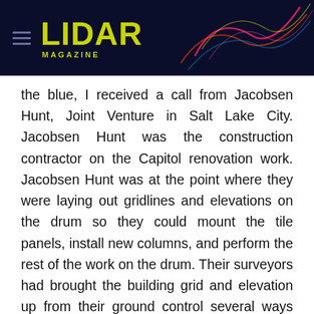LIDAR MAGAZINE
the blue, I received a call from Jacobsen Hunt, Joint Venture in Salt Lake City. Jacobsen Hunt was the construction contractor on the Capitol renovation work. Jacobsen Hunt was at the point where they were laying out gridlines and elevations on the drum so they could mount the tile panels, install new columns, and perform the rest of the work on the drum. Their surveyors had brought the building grid and elevation up from their ground control several ways and were not getting anything to come together better than an inch. This was not a surprise to me. I remembered the problems we had trying to constrain to several